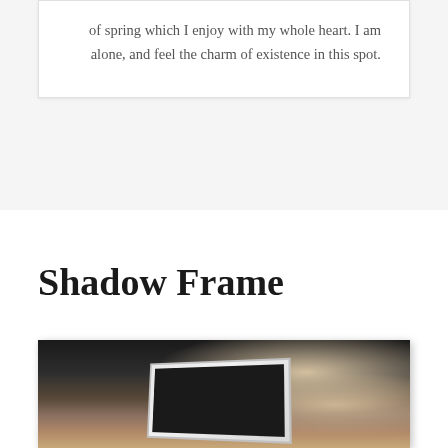of spring which I enjoy with my whole heart. I am alone, and feel the charm of existence in this spot.
Shadow Frame
[Figure (photo): A person sitting at a wooden table working on a white laptop/tablet, viewed from behind, with dark background]